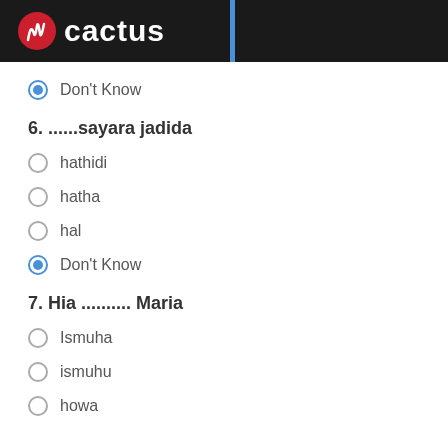[Figure (logo): Cactus logo with red circular icon and white text on dark background, with blue vertical bar]
Don't Know (selected)
6. ......sayara jadida
hathidi
hatha
hal
Don't Know (selected)
7. Hia .......... Maria
Ismuha
ismuhu
howa